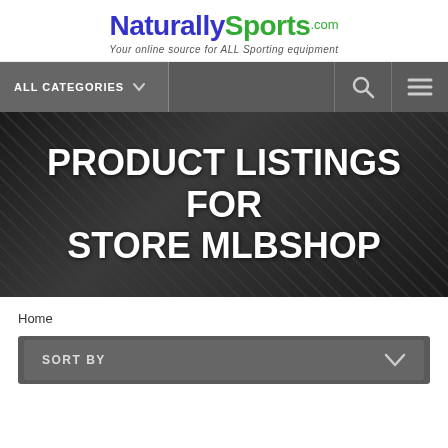[Figure (logo): NaturallySports.com logo with tagline 'Your online source for ALL Sporting equipment']
ALL CATEGORIES
PRODUCT LISTINGS FOR STORE MLBSHOP
Home
SORT BY